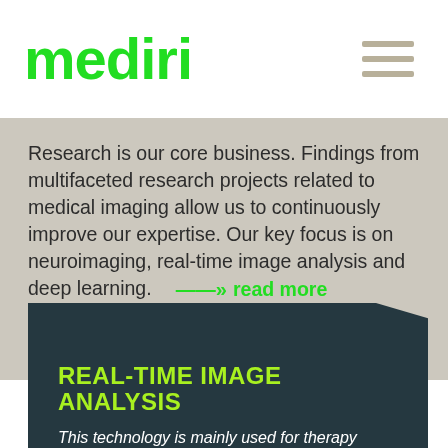[Figure (logo): mediri company logo in bright green text with hamburger menu icon]
Research is our core business. Findings from multifaceted research projects related to medical imaging allow us to continuously improve our expertise. Our key focus is on neuroimaging, real-time image analysis and deep learning.  ——» read more
REAL-TIME IMAGE ANALYSIS
This technology is mainly used for therapy